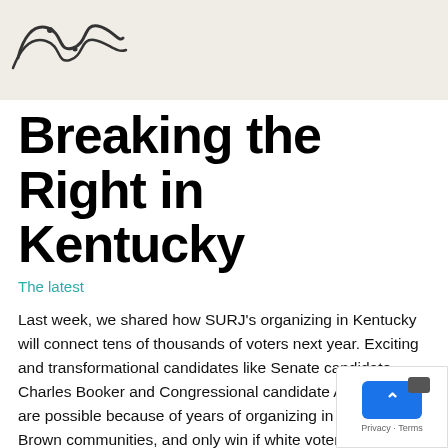[Figure (illustration): Partial view of a decorative squiggle/doodle illustration on a light beige background, cropped at the top of the page]
Breaking the Right in Kentucky
The latest
Last week, we shared how SURJ's organizing in Kentucky will connect tens of thousands of voters next year. Exciting and transformational candidates like Senate candidate Charles Booker and Congressional candidate Attica Scott are possible because of years of organizing in Black and Brown communities, and only win if white voters side with multiracial solidarity inste white supremacist fear-mongering.